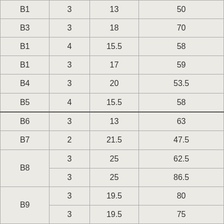| B1 | 3 | 13 | 50 |
| B3 | 3 | 18 | 70 |
| B1 | 4 | 15.5 | 58 |
| B1 | 3 | 17 | 59 |
| B4 | 3 | 20 | 53.5 |
| B5 | 4 | 15.5 | 58 |
| B6 | 3 | 13 | 63 |
| B7 | 2 | 21.5 | 47.5 |
| B8 | 3 | 25 | 62.5 |
| B8 | 3 | 25 | 86.5 |
| B9 | 3 | 19.5 | 80 |
| B9 | 3 | 19.5 | 75 |